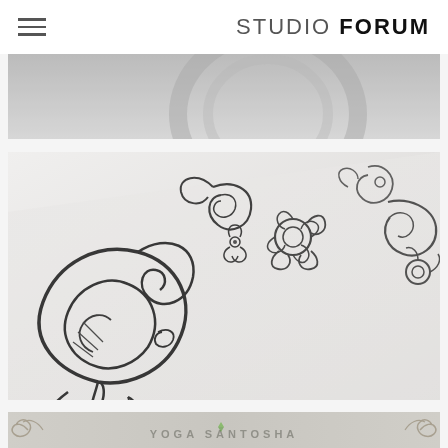STUDIO FORUM
[Figure (photo): Partial cropped black and white photo, top portion visible]
[Figure (photo): Black and white close-up photograph of ornate decorative floral/paisley ink drawings on white paper]
[Figure (illustration): Bottom portion of a decorative card or banner with ornamental border design and text reading YOGA SANTOSHA]